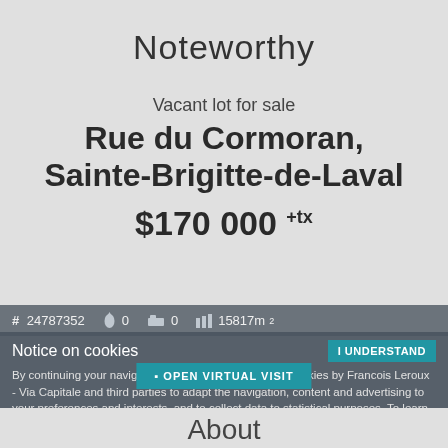Noteworthy
Vacant lot for sale
Rue du Cormoran, Sainte-Brigitte-de-Laval
$170 000 +tx
# 24787352   0   0   15817m²
Notice on cookies
By continuing your navigation, you agree to the use of cookies by Francois Leroux - Via Capitale and third parties to adapt the navigation, content and advertising to your preferences and interests, and to collect data to statistical purposes. To learn more, click here.
OPEN VIRTUAL VISIT
About